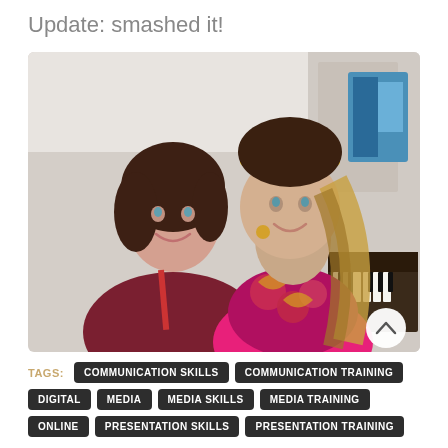Update: smashed it!
[Figure (photo): Two smiling women posing together indoors for a selfie. The woman on the left has short dark hair and wears a dark red/maroon cardigan. The woman on the right has long blonde/brunette hair with a yellow headband and wears a bright pink top with a colourful patterned vest. A piano and blue artwork are visible in the background.]
TAGS: COMMUNICATION SKILLS  COMMUNICATION TRAINING  DIGITAL  MEDIA  MEDIA SKILLS  MEDIA TRAINING  ONLINE  PRESENTATION SKILLS  PRESENTATION TRAINING